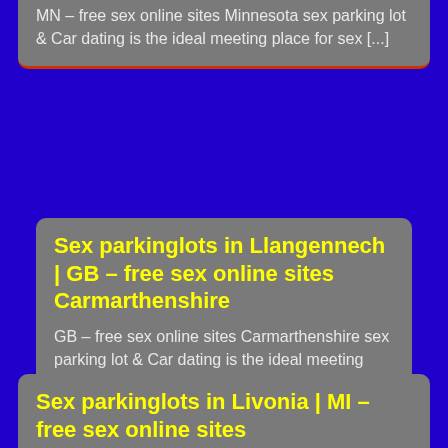MN – free sex online sites Minnesota sex parking lot & Car dating is the ideal meeting place for sex [...]
Sex parkinglots in Llangennech | GB – free sex online sites Carmarthenshire
GB – free sex online sites Carmarthenshire sex parking lot & Car dating is the ideal meeting place for sex [...]
Sex parkinglots in Livonia | MI – free sex online sites